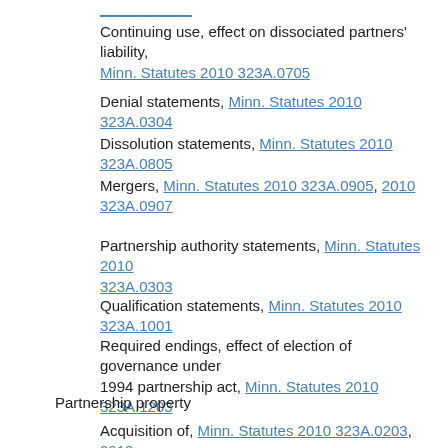Continuing use, effect on dissociated partners' liability, Minn. Statutes 2010 323A.0705
Denial statements, Minn. Statutes 2010 323A.0304
Dissolution statements, Minn. Statutes 2010 323A.0805
Mergers, Minn. Statutes 2010 323A.0905, 2010 323A.0907
Partnership authority statements, Minn. Statutes 2010 323A.0303
Qualification statements, Minn. Statutes 2010 323A.1001
Required endings, effect of election of governance under 1994 partnership act, Minn. Statutes 2010 323A.1203
Partnership property
Acquisition of, Minn. Statutes 2010 323A.0203, 2010 323A.0204